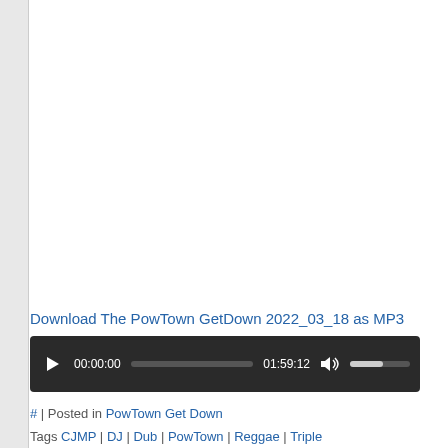Download The PowTown GetDown 2022_03_18 as MP3
[Figure (other): Audio player widget showing 00:00:00 / 01:59:12 with play button, progress bar, volume control on dark background]
# | Posted in PowTown Get Down
Tags CJMP | DJ | Dub | PowTown | Reggae | Triple